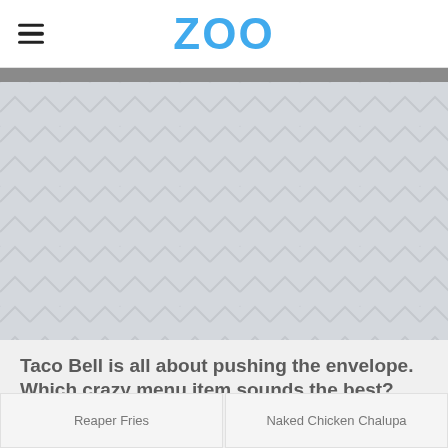ZOO
[Figure (illustration): Large placeholder image area with a light gray herringbone/chevron pattern background, representing a hero image for the article about Taco Bell menu items.]
Taco Bell is all about pushing the envelope. Which crazy menu item sounds the best?
Reaper Fries
Naked Chicken Chalupa